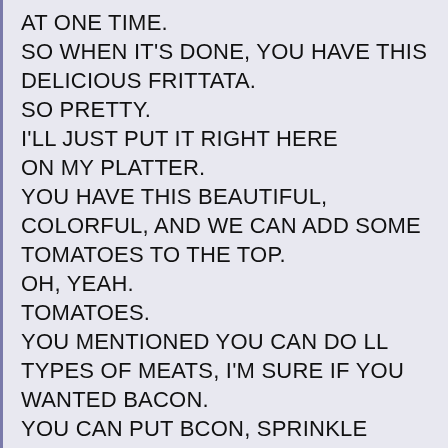AT ONE TIME. SO WHEN IT'S DONE, YOU HAVE THIS DELICIOUS FRITTATA. SO PRETTY. I'LL JUST PUT IT RIGHT HERE ON MY PLATTER. YOU HAVE THIS BEAUTIFUL, COLORFUL, AND WE CAN ADD SOME TOMATOES TO THE TOP. OH, YEAH. TOMATOES. YOU MENTIONED YOU CAN DO LL TYPES OF MEATS, I'M SURE IF YOU WANTED BACON. YOU CAN PUT BCON, SPRINKLE SOME PARMESAN CHEESE ON AFTER. YOU CAN REALLY USE ANY INGREDIENTS IN YOUR REFRIGERATOR THAT YOU WANT TO USE UP. VERY GOOD. WE CAN FIND THE COOKBOOK ON